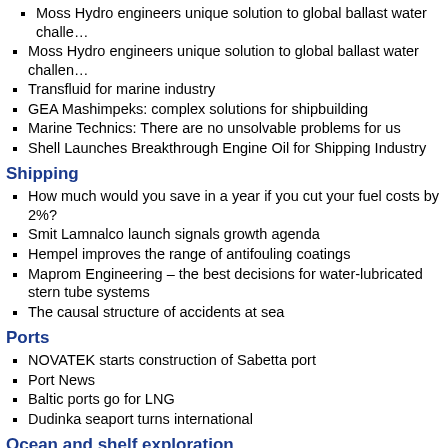Moss Hydro engineers unique solution to global ballast water challenge
Transfluid for marine industry
GEA Mashimpeks: complex solutions for shipbuilding
Marine Technics: There are no unsolvable problems for us
Shell Launches Breakthrough Engine Oil for Shipping Industry
Shipping
How much would you save in a year if you cut your fuel costs by 2%?
Smit Lamnalco launch signals growth agenda
Hempel improves the range of antifouling coatings
Maprom Engineering – the best decisions for water-lubricated stern tube systems
The causal structure of accidents at sea
Ports
NOVATEK starts construction of Sabetta port
Port News
Baltic ports go for LNG
Dudinka seaport turns international
Ocean and shelf exploration
Sovcomflot and Shell develop their cooperation Agreement signed for long-term time-charter of two ice class LNG carriers
Technology for Discrete & Digital Communication of the Relay-controlled Protection Equipment with the Central Control System and the Power Consumers' Connected Equipment
Wilhelmsen Ships Service will provide safe passage through the Northern Sea Route
№ 40/2012